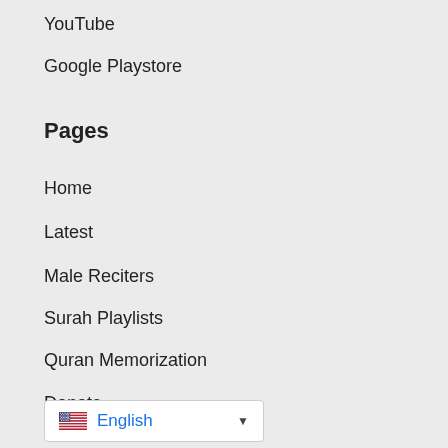YouTube
Google Playstore
Pages
Home
Latest
Male Reciters
Surah Playlists
Quran Memorization
Donate
[Figure (other): Language selector widget showing US flag and 'English' text with dropdown arrow]